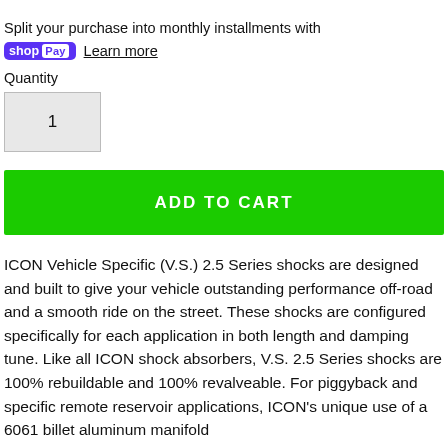Split your purchase into monthly installments with shop Pay  Learn more
Quantity
1
ADD TO CART
ICON Vehicle Specific (V.S.) 2.5 Series shocks are designed and built to give your vehicle outstanding performance off-road and a smooth ride on the street. These shocks are configured specifically for each application in both length and damping tune. Like all ICON shock absorbers, V.S. 2.5 Series shocks are 100% rebuildable and 100% revalveable. For piggyback and specific remote reservoir applications, ICON's unique use of a 6061 billet aluminum manifold